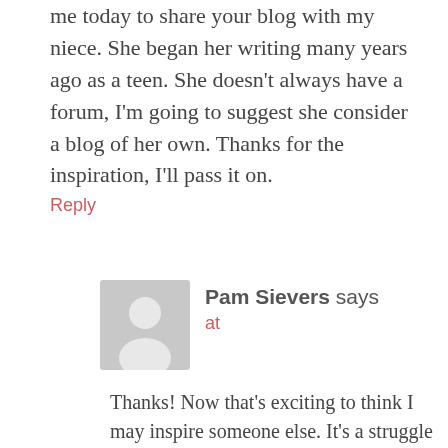me today to share your blog with my niece. She began her writing many years ago as a teen. She doesn't always have a forum, I'm going to suggest she consider a blog of her own. Thanks for the inspiration, I'll pass it on.
Reply
Pam Sievers says
at
Thanks! Now that's exciting to think I may inspire someone else. It's a struggle to figure out who your audience is and of course, that's directly linked to what you write about and your focus. Appreciate you reading and taking the